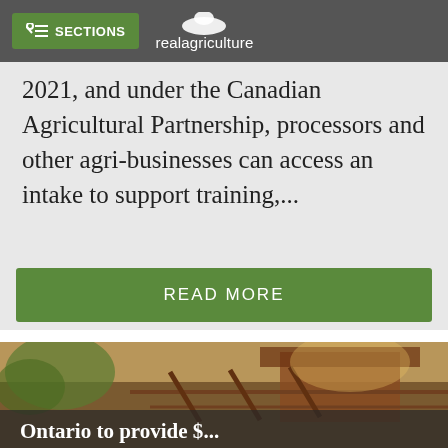SECTIONS | realagriculture
2021, and under the Canadian Agricultural Partnership, processors and other agri-businesses can access an intake to support training,...
READ MORE
[Figure (photo): Farm scene with barn and cattle infrastructure, partially visible title text 'Ontario to provide $...' overlaid at bottom]
Ontario to provide $...